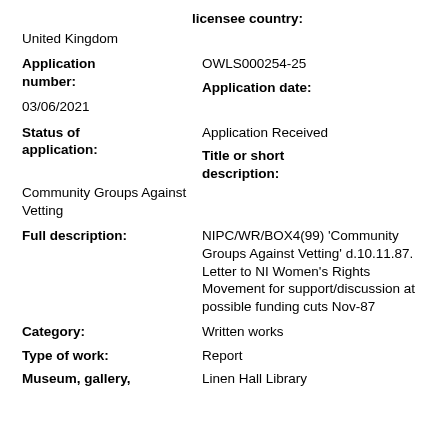licensee country:
United Kingdom
Application number:
OWLS000254-25
Application date:
03/06/2021
Status of application:
Application Received
Title or short description:
Community Groups Against Vetting
Full description:
NIPC/WR/BOX4(99) 'Community Groups Against Vetting' d.10.11.87. Letter to NI Women's Rights Movement for support/discussion at possible funding cuts Nov-87
Category:
Written works
Type of work:
Report
Museum, gallery,
Linen Hall Library